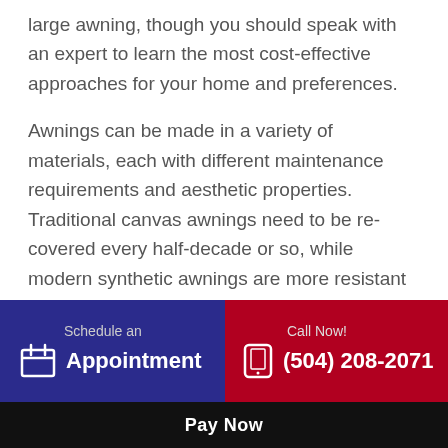large awning, though you should speak with an expert to learn the most cost-effective approaches for your home and preferences.

Awnings can be made in a variety of materials, each with different maintenance requirements and aesthetic properties. Traditional canvas awnings need to be re-covered every half-decade or so, while modern synthetic awnings are more resistant to moisture and fading. Some homeowners choose to install solar panels as awnings over doors and windows.
Schedule an Appointment
Call Now! (504) 208-2071
Pay Now